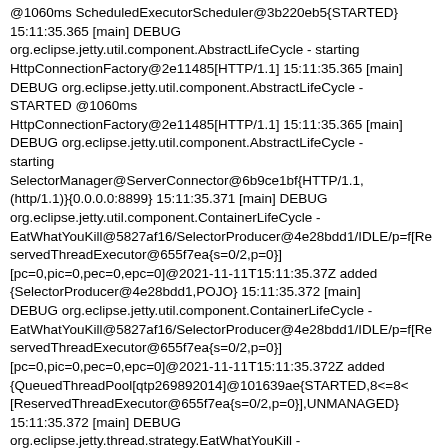@1060ms ScheduledExecutorScheduler@3b220eb5{STARTED} 15:11:35.365 [main] DEBUG org.eclipse.jetty.util.component.AbstractLifeCycle - starting HttpConnectionFactory@2e11485[HTTP/1.1] 15:11:35.365 [main] DEBUG org.eclipse.jetty.util.component.AbstractLifeCycle - STARTED @1060ms HttpConnectionFactory@2e11485[HTTP/1.1] 15:11:35.365 [main] DEBUG org.eclipse.jetty.util.component.AbstractLifeCycle - starting SelectorManager@ServerConnector@6b9ce1bf{HTTP/1.1,(http/1.1)}{0.0.0.0:8899} 15:11:35.371 [main] DEBUG org.eclipse.jetty.util.component.ContainerLifeCycle - EatWhatYouKill@5827af16/SelectorProducer@4e28bdd1/IDLE/p=f[ReservedThreadExecutor@655f7ea{s=0/2,p=0}][pc=0,pic=0,pec=0,epc=0]@2021-11-11T15:11:35.37Z added {SelectorProducer@4e28bdd1,POJO} 15:11:35.372 [main] DEBUG org.eclipse.jetty.util.component.ContainerLifeCycle - EatWhatYouKill@5827af16/SelectorProducer@4e28bdd1/IDLE/p=f[ReservedThreadExecutor@655f7ea{s=0/2,p=0}][pc=0,pic=0,pec=0,epc=0]@2021-11-11T15:11:35.372Z added {QueuedThreadPool[qtp269892014]@101639ae{STARTED,8<=8<=8<=8<=[ReservedThreadExecutor@655f7ea{s=0/2,p=0}],UNMANAGED} 15:11:35.372 [main] DEBUG org.eclipse.jetty.thread.strategy.EatWhatYouKill - EatWhatYouKill@5827af16/SelectorProducer@4e28bdd1/IDLE/p=f[ReservedThreadExecutor@655f7ea{s=0/2,p=0}]